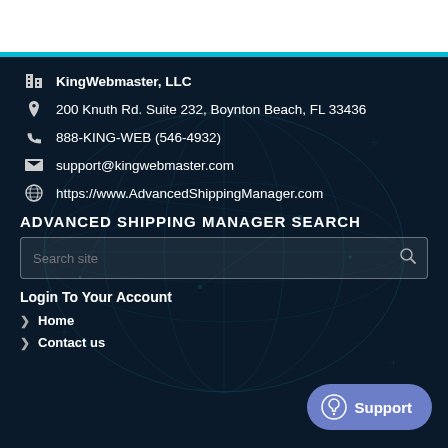KingWebmaster, LLC
200 Knuth Rd. Suite 232, Boynton Beach, FL 33436
888-KING-WEB (546-4932)
support@kingwebmaster.com
https://www.AdvancedShippingManager.com
ADVANCED SHIPPING MANAGER SEARCH
Search site
Login To Your Account
Home
Contact us
Support